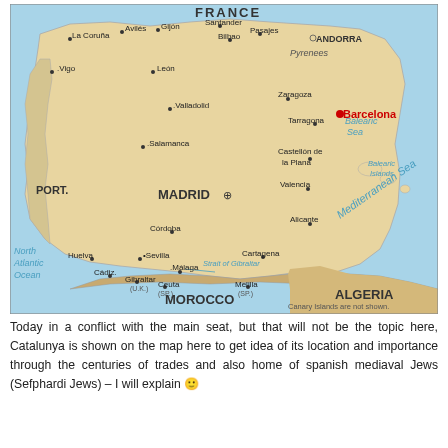[Figure (map): Map of Spain showing major cities including Barcelona (highlighted in red), Madrid, Seville, Valencia, Zaragoza, and others. Shows neighboring regions: France, Andorra, Portugal (PORT.), Morocco, Algeria. Bodies of water labeled: Mediterranean Sea, Balearic Sea, North Atlantic Ocean, Strait of Gibraltar. Balearic Islands shown. Enclaves Ceuta (SP.) and Melilla (SP.) shown. Gibraltar (U.K.) labeled. Note: Canary Islands are not shown.]
Today in a conflict with the main seat, but that will not be the topic here, Catalunya is shown on the map here to get idea of its location and importance through the centuries of trades and also home of spanish mediaval Jews (Sefphardi Jews) – I will explain 🙂
In the next chapter we can see more...